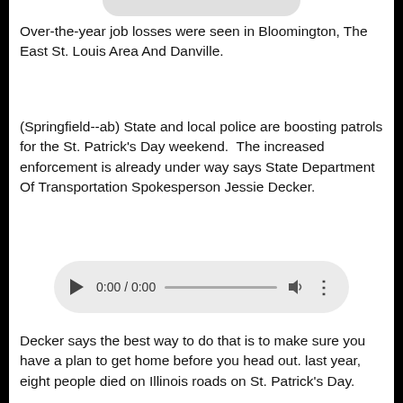Over-the-year job losses were seen in Bloomington, The East St. Louis Area And Danville.
(Springfield--ab) State and local police are boosting patrols for the St. Patrick’s Day weekend.  The increased enforcement is already under way says State Department Of Transportation Spokesperson Jessie Decker.
[Figure (other): Audio player widget showing 0:00 / 0:00 with play button, progress bar, volume icon, and more options icon.]
Decker says the best way to do that is to make sure you have a plan to get home before you head out. last year, eight people died on Illinois roads on St. Patrick’s Day.